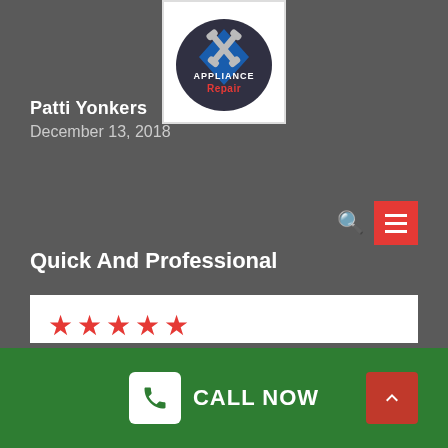[Figure (logo): Appliance Repair logo with crossed wrenches and blue diamond, text reads 'Appliance Repair']
Patti Yonkers
December 13, 2018
Quick And Professional
★★★★★ (5 stars)
When I contacted your company for a cost estimate on the repair of my oven, I was connected to a knowledgeable technician who established an appointment that exact same day for me! They came out to my house quickly and were able to fix my oven in a
CALL NOW